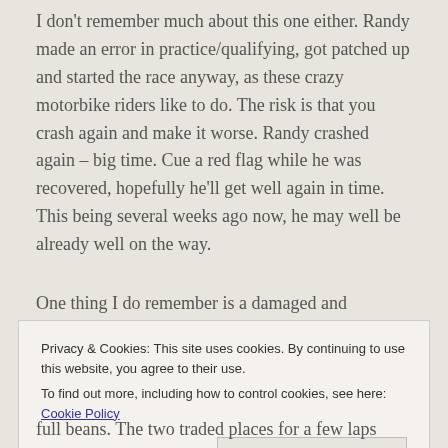I don't remember much about this one either. Randy made an error in practice/qualifying, got patched up and started the race anyway, as these crazy motorbike riders like to do. The risk is that you crash again and make it worse. Randy crashed again – big time. Cue a red flag while he was recovered, hopefully he'll get well again in time. This being several weeks ago now, he may well be already well on the way.
One thing I do remember is a damaged and
Privacy & Cookies: This site uses cookies. By continuing to use this website, you agree to their use.
To find out more, including how to control cookies, see here: Cookie Policy
Close and accept
full beans. The two traded places for a few laps